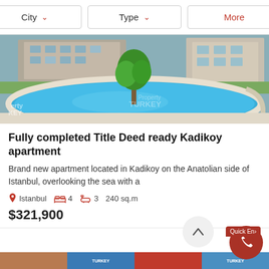City  Type  More
[Figure (photo): Outdoor swimming pool with a tree in the center and modern apartment buildings in the background. Watermark reads 'Property TURKEY'.]
Fully completed Title Deed ready Kadikoy apartment
Brand new apartment located in Kadikoy on the Anatolian side of Istanbul, overlooking the sea with a
Istanbul  4  3  240 sq.m
$321,900
Quick Enquiry